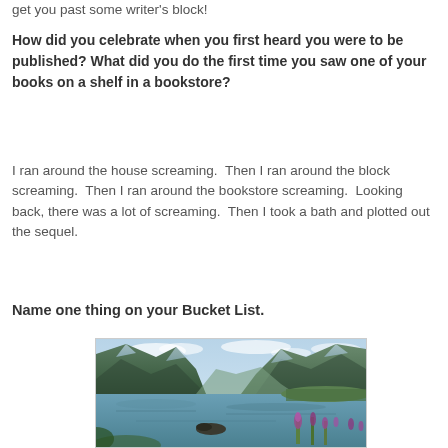get you past some writer's block!
How did you celebrate when you first heard you were to be published? What did you do the first time you saw one of your books on a shelf in a bookstore?
I ran around the house screaming.  Then I ran around the block screaming.  Then I ran around the bookstore screaming.  Looking back, there was a lot of screaming.  Then I took a bath and plotted out the sequel.
Name one thing on your Bucket List.
[Figure (photo): A scenic Norwegian fjord with steep green mountains, calm blue-green water, purple wildflowers in the foreground, and a cloudy sky.]